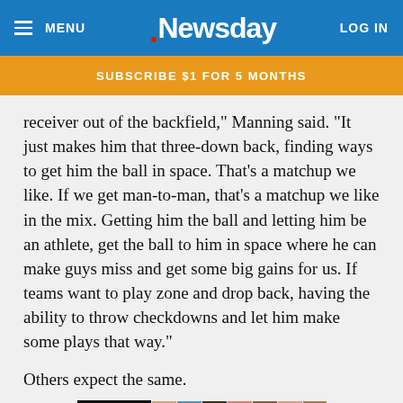MENU | Newsday | LOG IN
SUBSCRIBE $1 FOR 5 MONTHS
receiver out of the backfield,” Manning said. “It just makes him that three-down back, finding ways to get him the ball in space. That’s a matchup we like. If we get man-to-man, that’s a matchup we like in the mix. Getting him the ball and letting him be an athlete, get the ball to him in space where he can make guys miss and get some big gains for us. If teams want to play zone and drop back, having the ability to throw checkdowns and let him make some plays that way.”
Others expect the same.
[Figure (photo): Advertisement banner for Faces of Long Island showing a grid of portrait photos of various people alongside the text FACES OF LONG ISLAND]